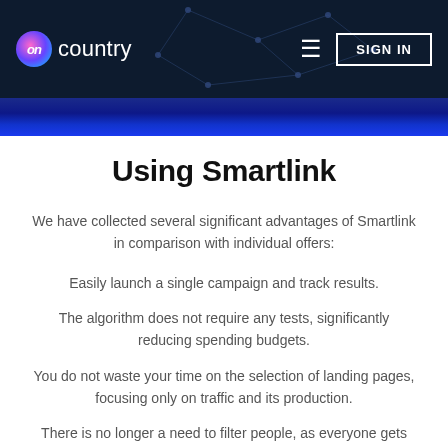ON Country — SIGN IN
Using Smartlink
We have collected several significant advantages of Smartlink in comparison with individual offers:
Easily launch a single campaign and track results.
The algorithm does not require any tests, significantly reducing spending budgets.
You do not waste your time on the selection of landing pages, focusing only on traffic and its production.
There is no longer a need to filter people, as everyone gets what they